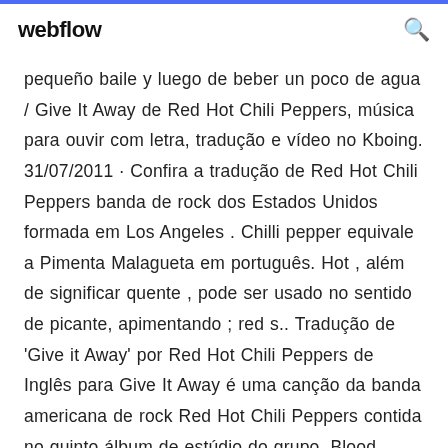webflow
pequeño baile y luego de beber un poco de agua / Give It Away de Red Hot Chili Peppers, música para ouvir com letra, tradução e vídeo no Kboing. 31/07/2011 · Confira a tradução de Red Hot Chili Peppers banda de rock dos Estados Unidos formada em Los Angeles . Chilli pepper equivale a Pimenta Malagueta em português. Hot , além de significar quente , pode ser usado no sentido de picante, apimentando ; red s.. Tradução de 'Give it Away' por Red Hot Chili Peppers de Inglês para Give It Away é uma canção da banda americana de rock Red Hot Chili Peppers contida no quinto álbum de estúdio do grupo, Blood Sugar Sex Magik Foi lançada como o primeiro